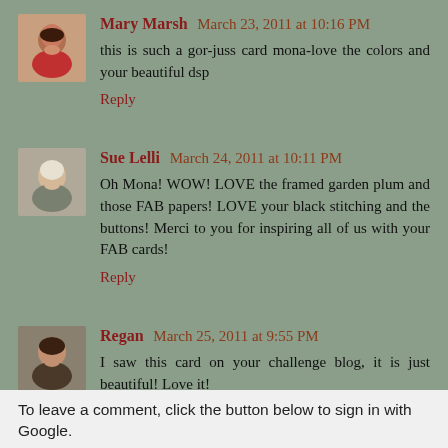[Figure (photo): Avatar photo of Mary Marsh - woman with dark hair]
Mary Marsh March 23, 2011 at 10:16 PM
this is such a gor-juss card mona-love the colors and your beautiful dsp
Reply
[Figure (photo): Avatar photo of Sue Lelli - woman with light hair]
Sue Lelli March 24, 2011 at 10:11 PM
Oh Mona! WOW! LOVE the framed garden plum and those FAB papers! LOVE your black stitching and the buttons! Merci to you for inspiring all of us with your FAB cards!
Reply
[Figure (photo): Avatar photo of Regan - young woman with dark hair]
Regan March 25, 2011 at 9:55 PM
I saw this card on your challenge blog, it is just beautiful! Love it!
Reply
To leave a comment, click the button below to sign in with Google.